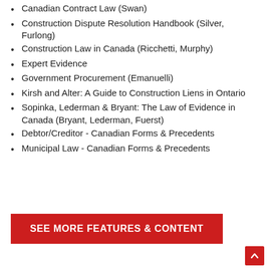Canadian Contract Law (Swan)
Construction Dispute Resolution Handbook (Silver, Furlong)
Construction Law in Canada (Ricchetti, Murphy)
Expert Evidence
Government Procurement (Emanuelli)
Kirsh and Alter: A Guide to Construction Liens in Ontario
Sopinka, Lederman & Bryant: The Law of Evidence in Canada (Bryant, Lederman, Fuerst)
Debtor/Creditor - Canadian Forms & Precedents
Municipal Law - Canadian Forms & Precedents
SEE MORE FEATURES & CONTENT